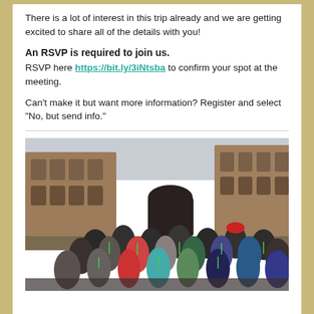There is a lot of interest in this trip already and we are getting excited to share all of the details with you!
An RSVP is required to join us.
RSVP here https://bit.ly/3iNtsba to confirm your spot at the meeting.
Can’t make it but want more information? Register and select “No, but send info.”
[Figure (photo): Group of students and chaperones posing inside the Roman Colosseum, with the interior arches and ruins visible behind them. Students are wearing green lanyards.]